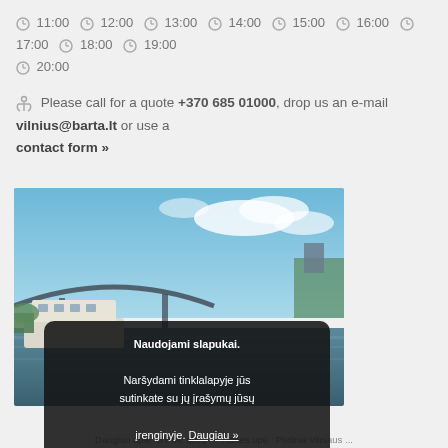🕐 11:00 🕐 12:00 🕐 13:00 🕐 14:00 🕐 15:00 🕐 16:00 🕐 17:00 🕐 18:00 🕐 19:00 🕐 20:00
⚓ Please call for a quote +370 685 01000, drop us an e-mail vilnius@barta.lt or use a contact form »
[Figure (photo): Photo of a white riverboat on a river with a pedestrian bridge and city buildings in the background under a partly cloudy blue sky. A cookie consent overlay is shown on top of the photo.]
Naudojami slapukai. Naršydami tinklalapyje jūs sutinkate su jų įrašymų jūsų įrenginyje. Daugiau » Gerai
Daugiau apie "BYTA" laivą » Neries upė Pietinis Vilniaus...